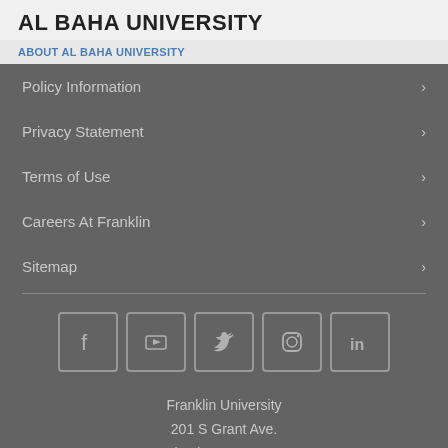AL BAHA UNIVERSITY
ABOUT AL BAHA UNIVERSITY
Policy Information
Privacy Statement
Terms of Use
Careers At Franklin
Sitemap
[Figure (other): Social media icons: Facebook, YouTube, Twitter, Instagram, LinkedIn]
Franklin University
201 S Grant Ave.
Columbus, OH 43215
Local: (614) 797-4700
Toll Free: (877) 341-6300